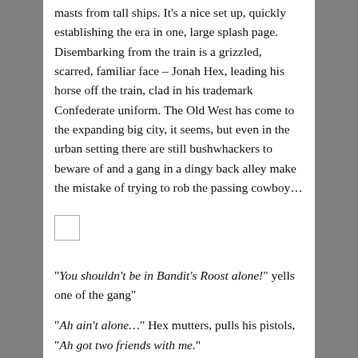masts from tall ships. It's a nice set up, quickly establishing the era in one, large splash page. Disembarking from the train is a grizzled, scarred, familiar face – Jonah Hex, leading his horse off the train, clad in his trademark Confederate uniform. The Old West has come to the expanding big city, it seems, but even in the urban setting there are still bushwhackers to beware of and a gang in a dingy back alley make the mistake of trying to rob the passing cowboy…
[Figure (other): Small placeholder image/thumbnail (empty white rectangle with border)]
“You shouldn’t be in Bandit’s Roost alone!” yells one of the gang”
“Ah ain’t alone…” Hex mutters, pulls his pistols, “Ah got two friends with me.”
As you might expect the would be muggers are swiftly disabused of their notion of easy, small town rube as prey in the big city as Hex simply guns them down. Open